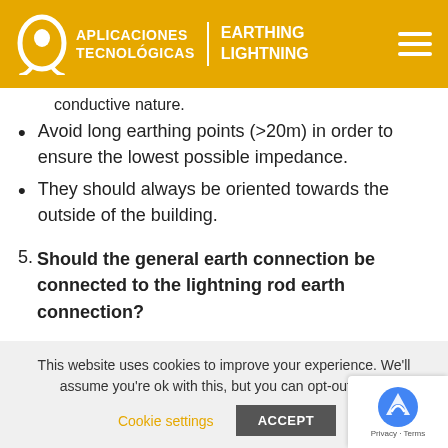APLICACIONES TECNOLÓGICAS | EARTHING LIGHTNING
conductive nature.
Avoid long earthing points (>20m) in order to ensure the lowest possible impedance.
They should always be oriented towards the outside of the building.
5. Should the general earth connection be connected to the lightning rod earth connection?
Yes. In all lightning protection regulations it is recommended to connect the general earth
This website uses cookies to improve your experience. We'll assume you're ok with this, but you can opt-out if you
Cookie settings   ACCEPT